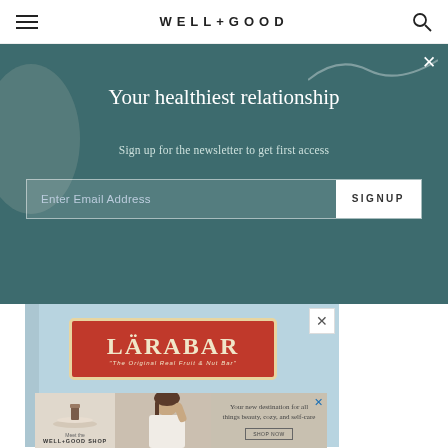WELL+GOOD
Your healthiest relationship
Sign up for the newsletter to get first access
Enter Email Address  SIGNUP
[Figure (advertisement): Larabar advertisement: LARABAR logo in red box, tagline JUST 5 REAL INGREDIENTS, partial text OUR COOKIE, light blue background]
[Figure (advertisement): Well+Good Shop banner advertisement with woman touching hair, plate with food item, text: Your new destination for all things beauty, cozy, and self-care. Meet the WELL+GOOD SHOP button.]